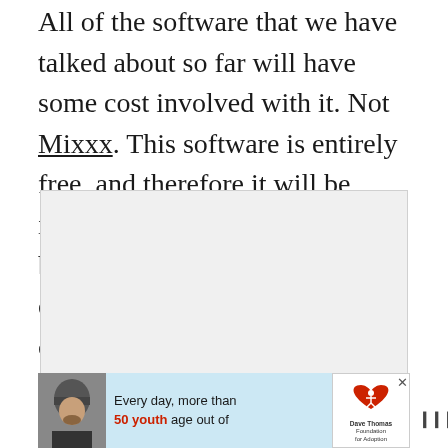All of the software that we have talked about so far will have some cost involved with it. Not Mixxx. This software is entirely free, and therefore it will be ideal for those who have a budget to stick. It should be compatible with most controllers on the market.
[Figure (other): Empty light grey placeholder image block]
[Figure (infographic): Advertisement banner for Dave Thomas Foundation for Adoption. Shows a person wearing a beanie hat on the left, text reading 'Every day, more than 50 youth age out of' in the center, the Dave Thomas Foundation for Adoption logo, and a WW logo on the right.]